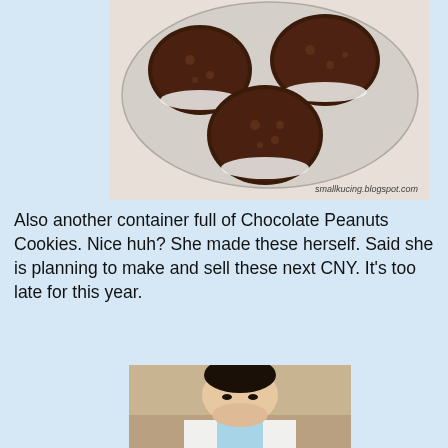[Figure (photo): Top-down view of chocolate peanut cookies in paper cupcake liners arranged on a clear plastic tray. Watermark reads 'smallkucing.blogspot.com'.]
Also another container full of Chocolate Peanuts Cookies. Nice huh? She made these herself. Said she is planning to make and sell these next CNY. It's too late for this year.
[Figure (photo): Close-up photo of a young toddler boy with short black hair, wearing a white and light blue polo shirt, looking downward.]